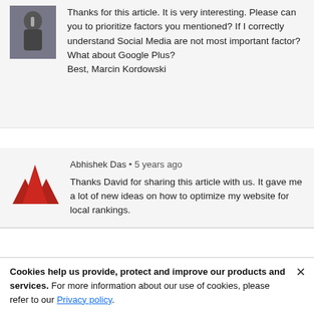Thanks for this article. It is very interesting. Please can you to prioritize factors you mentioned? If I correctly understand Social Media are not most important factor? What about Google Plus?
Best, Marcin Kordowski
[Figure (logo): Red mountain/triangle logo for Abhishek Das]
Abhishek Das • 5 years ago
Thanks David for sharing this article with us. It gave me a lot of new ideas on how to optimize my website for local rankings.
Cookies help us provide, protect and improve our products and services. For more information about our use of cookies, please refer to our Privacy policy.